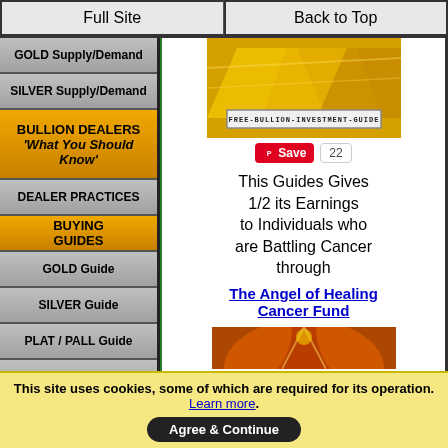Full Site
Back to Top
GOLD Supply/Demand
SILVER Supply/Demand
BULLION DEALERS 'What You Should Know'
DEALER PRACTICES
BUYING GUIDES
GOLD Guide
SILVER Guide
PLAT / PALL Guide
COINS/ROUNDS
[Figure (illustration): Gold bars image with FREE-BULLION-INVESTMENT-GUIDE label]
Save 22
This Guides Gives 1/2 its Earnings to Individuals who are Battling Cancer through
The Angel of Healing Cancer Fund
[Figure (illustration): Partial angel/phoenix image at bottom of content area]
This site uses cookies, some of which are required for its operation. Learn more. Agree & Continue